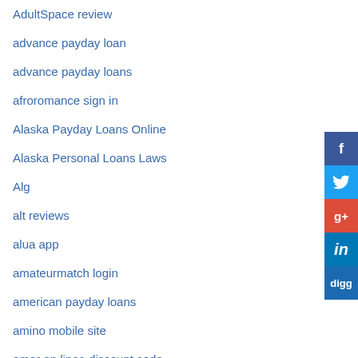AdultSpace review
advance payday loan
advance payday loans
afroromance sign in
Alaska Payday Loans Online
Alaska Personal Loans Laws
Alg
alt reviews
alua app
amateurmatch login
american payday loans
amino mobile site
amor en linea discount code